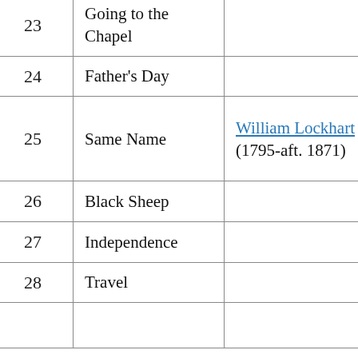| # | Topic | Person | Note |
| --- | --- | --- | --- |
| 23 | Going to the Chapel |  |  |
| 24 | Father's Day |  |  |
| 25 | Same Name | William Lockhart (1795-aft. 1871) | Dad – Hel Lockhart – William Lo |
| 26 | Black Sheep |  |  |
| 27 | Independence |  |  |
| 28 | Travel |  |  |
|  |  |  |  |